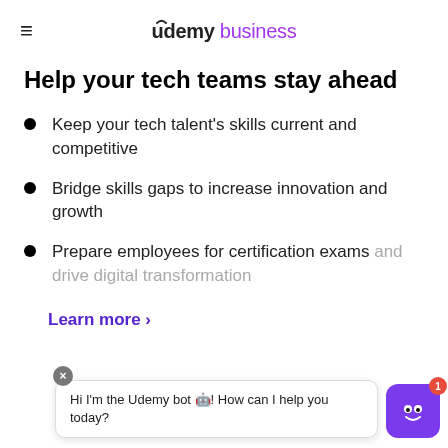≡  Udemy business
Help your tech teams stay ahead
Keep your tech talent's skills current and competitive
Bridge skills gaps to increase innovation and growth
Prepare employees for certification exams and drive digital transformation
Learn more →
Hi I'm the Udemy bot 🤖! How can I help you today?